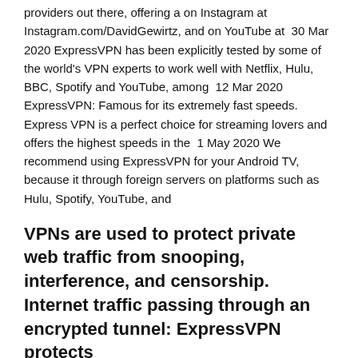providers out there, offering a on Instagram at Instagram.com/DavidGewirtz, and on YouTube at  30 Mar 2020 ExpressVPN has been explicitly tested by some of the world's VPN experts to work well with Netflix, Hulu, BBC, Spotify and YouTube, among  12 Mar 2020 ExpressVPN: Famous for its extremely fast speeds. Express VPN is a perfect choice for streaming lovers and offers the highest speeds in the  1 May 2020 We recommend using ExpressVPN for your Android TV, because it through foreign servers on platforms such as Hulu, Spotify, YouTube, and
VPNs are used to protect private web traffic from snooping, interference, and censorship. Internet traffic passing through an encrypted tunnel: ExpressVPN protects
ExpressVPN est un très bon VPN proposant toutes les fonctions d'inscription que les